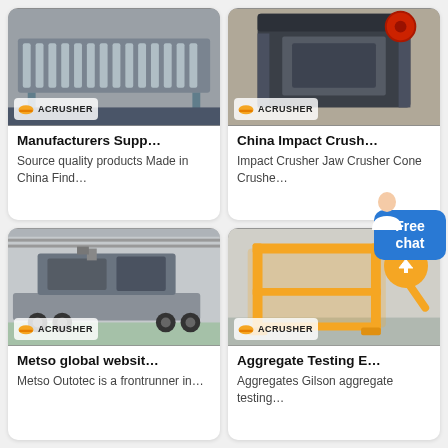[Figure (photo): Industrial vibrating screen / feeder equipment in a factory, with ACRUSHER branding badge at bottom left]
Manufacturers Supp…
Source quality products Made in China Find…
[Figure (photo): Large jaw crusher machine in black/dark grey, with ACRUSHER branding badge at bottom left]
China Impact Crush…
Impact Crusher Jaw Crusher Cone Crushe…
[Figure (photo): Mobile crushing plant on a trailer/truck inside a large industrial facility, with ACRUSHER branding badge]
Metso global websit…
Metso Outotec is a frontrunner in…
[Figure (photo): Orange-colored aggregate testing equipment in a factory, with ACRUSHER badge and a back-to-top orange circle button]
Aggregate Testing E…
Aggregates Gilson aggregate testing…